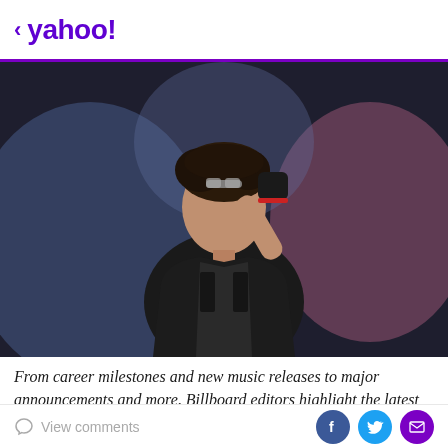< yahoo!
[Figure (photo): A young male performer on stage looking upward, wearing a black outfit and fingerless gloves, with sunglasses pushed up on his forehead, blurred colorful stage lighting in the background]
From career milestones and new music releases to major announcements and more, Billboard editors highlight the latest news buzz in Latin music every week. Here's what
View comments